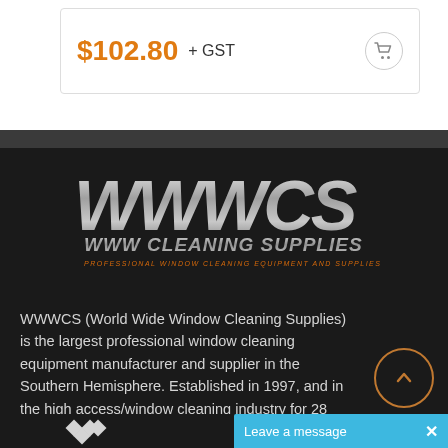$102.80 + GST
[Figure (logo): WWWCS logo with metallic WWWCS letters, 'WWW CLEANING SUPPLIES' text, and orange tagline 'PROFESSIONAL WINDOW CLEANING EQUIPMENT AND SUPPLIES' on black background]
WWWCS (World Wide Window Cleaning Supplies) is the largest professional window cleaning equipment manufacturer and supplier in the Southern Hemisphere. Established in 1997, and in the high access/window cleaning industry for 28 years, READ MORE...
Leave a message